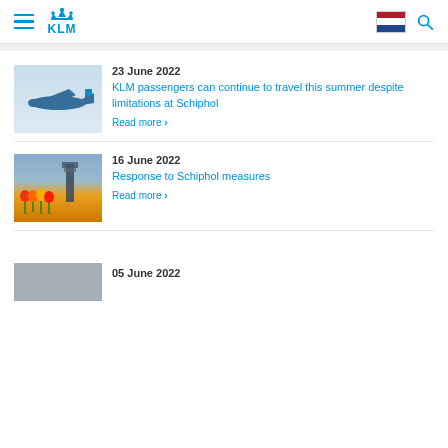KLM navigation header with hamburger menu, KLM logo, Dutch flag, and search icon
[Figure (photo): KLM airplane in flight against light blue sky]
23 June 2022
KLM passengers can continue to travel this summer despite limitations at Schiphol
Read more
[Figure (photo): Schiphol airport control tower with yellow tulips in foreground]
16 June 2022
Response to Schiphol measures
Read more
[Figure (photo): Partial grey photo, cut off at bottom of page]
05 June 2022